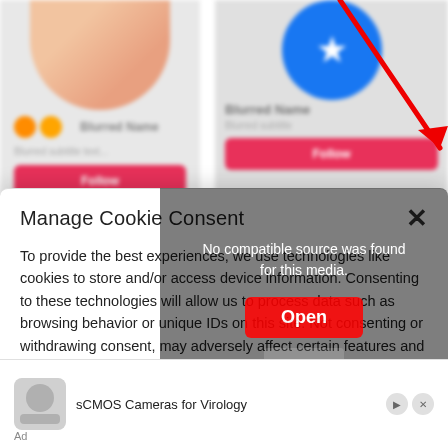[Figure (screenshot): Blurred background showing two profile cards from a social/dating app. Left card shows a person's photo with orange circle icons, blurred name, blurred subtext, and a pink Follow button. Right card shows a blue Facebook-style circle icon, blurred name, blurred subtext, and a pink Follow button. A red diagonal arrow points down-right toward the right card's button area.]
Manage Cookie Consent
To provide the best experiences, we use technologies like cookies to store and/or access device information. Consenting to these technologies will allow us to process data such as browsing behavior or unique IDs on this site. Not consenting or withdrawing consent, may adversely affect certain features and functions.
Accept
No compatible source was found for this media.
Open
sCMOS Cameras for Virology
Ad